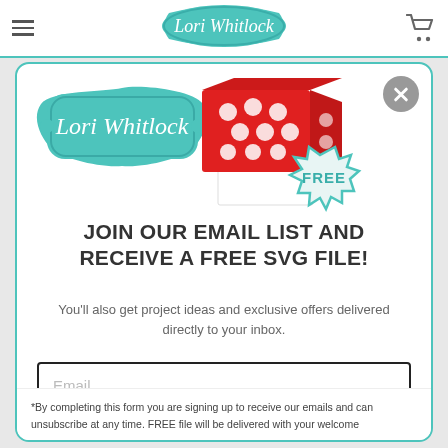Lori Whitlock
[Figure (logo): Lori Whitlock teal ornate badge logo]
[Figure (illustration): Red decorative laser-cut box with white base and FREE badge sticker]
JOIN OUR EMAIL LIST AND RECEIVE A FREE SVG FILE!
You'll also get project ideas and exclusive offers delivered directly to your inbox.
Email
Subscribe
*By completing this form you are signing up to receive our emails and can unsubscribe at any time. FREE file will be delivered with your welcome